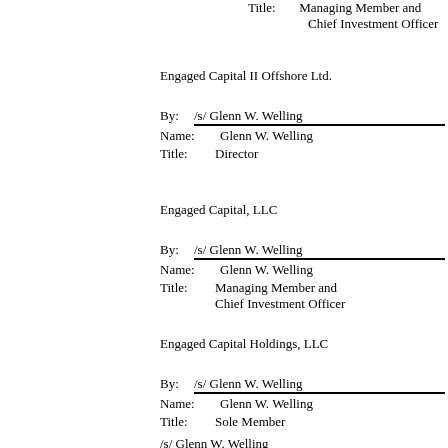Title:    Managing Member and Chief Investment Officer
Engaged Capital II Offshore Ltd.
By:  /s/ Glenn W. Welling
Name:  Glenn W. Welling
Title:    Director
Engaged Capital, LLC
By:  /s/ Glenn W. Welling
Name:  Glenn W. Welling
Title:    Managing Member and Chief Investment Officer
Engaged Capital Holdings, LLC
By:  /s/ Glenn W. Welling
Name:  Glenn W. Welling
Title:    Sole Member
/s/ Glenn W. Welling